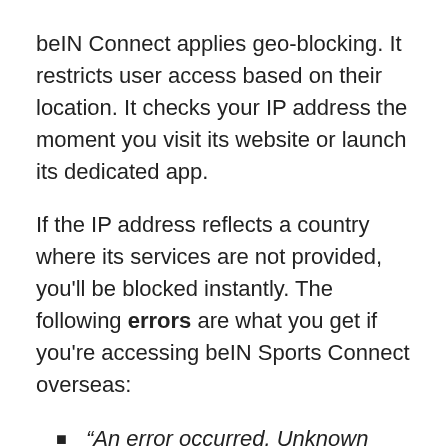beIN Connect applies geo-blocking. It restricts user access based on their location. It checks your IP address the moment you visit its website or launch its dedicated app.
If the IP address reflects a country where its services are not provided, you’ll be blocked instantly. The following errors are what you get if you’re accessing beIN Sports Connect overseas:
“An error occurred. Unknown error. Error code: 1.”
“An error occurred. Security Recording. Error code: 13001.”
“Video not available. This video is not available in your region.”